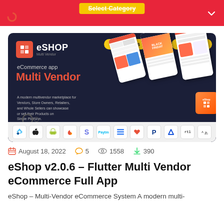Select Category
[Figure (screenshot): eShop Multi Vendor eCommerce app promotional banner with app screenshots, Mobile Apps and PHP Scripts tags, and technology icons strip at bottom]
August 18, 2022   💬 5   👁 1558   ⬇ 390
eShop v2.0.6 – Flutter Multi Vendor eCommerce Full App
eShop – Multi-Vendor eCommerce System A modern multi-